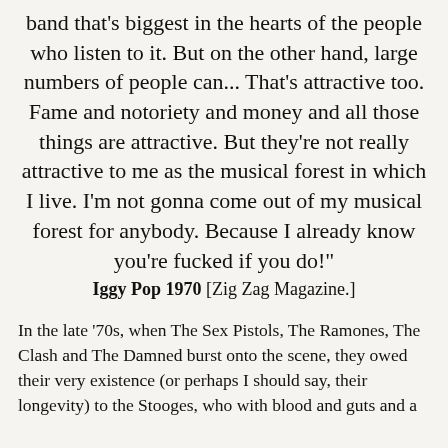band that's biggest in the hearts of the people who listen to it. But on the other hand, large numbers of people can... That's attractive too. Fame and notoriety and money and all those things are attractive. But they're not really attractive to me as the musical forest in which I live. I'm not gonna come out of my musical forest for anybody. Because I already know you're fucked if you do!"
Iggy Pop 1970 [Zig Zag Magazine.]
In the late '70s, when The Sex Pistols, The Ramones, The Clash and The Damned burst onto the scene, they owed their very existence (or perhaps I should say, their longevity) to the Stooges, who with blood and guts and a